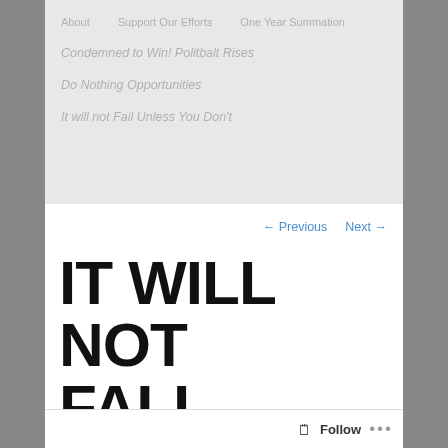About    Support Our Efforts    One Year Summation
Condemned to Win! Politbalt Rises
Do Nothing Opportunities
It will not Fail Unless You Don't
← Previous    Next →
IT WILL NOT FALL UNLESS
Follow   •••